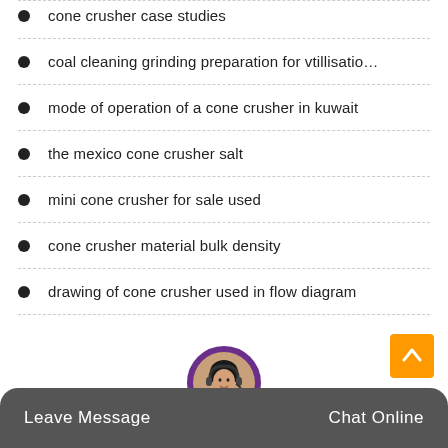cone crusher case studies
coal cleaning grinding preparation for vtillisatio…
mode of operation of a cone crusher in kuwait
the mexico cone crusher salt
mini cone crusher for sale used
cone crusher material bulk density
drawing of cone crusher used in flow diagram
Leave Message  Chat Online